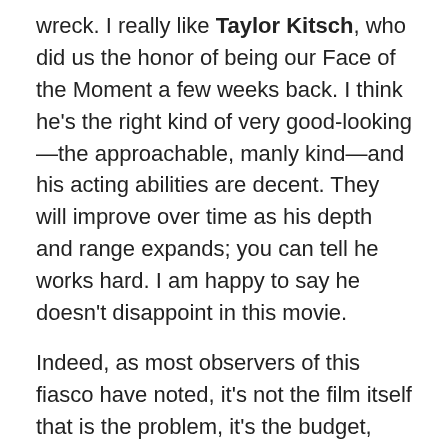wreck.  I really like Taylor Kitsch, who did us the honor of being our Face of the Moment a few weeks back.  I think he's the right kind of very good-looking—the approachable, manly kind—and his acting abilities are decent.  They will improve over time as his depth and range expands; you can tell he works hard.  I am happy to say he doesn't disappoint in this movie.
Indeed, as most observers of this fiasco have noted, it's not the film itself that is the problem, it's the budget, which was reported to be two hundred and fifty million, and figures are always low-balled in a case like this to minimize studio embarrassment.  While nobody clapped at the end, I can certainly find little to fault about it for a film of this genre.
It is exquisitely made, tastefully designed, the effects